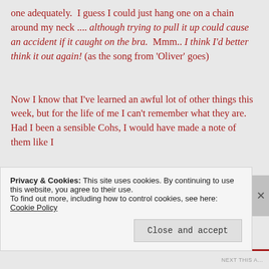one adequately.  I guess I could just hang one on a chain around my neck .... although trying to pull it up could cause an accident if it caught on the bra.  Mmm.. I think I'd better think it out again! (as the song from 'Oliver' goes)

Now I know that I've learned an awful lot of other things this week, but for the life of me I can't remember what they are.  Had I been a sensible Cohs, I would have made a note of them like I
Privacy & Cookies: This site uses cookies. By continuing to use this website, you agree to their use.
To find out more, including how to control cookies, see here: Cookie Policy
Close and accept